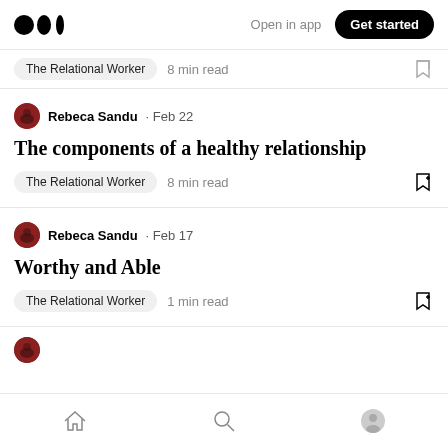Medium logo | Open in app | Get started
The Relational Worker · 8 min read
Rebeca Sandu · Feb 22
The components of a healthy relationship
The Relational Worker   8 min read
Rebeca Sandu · Feb 17
Worthy and Able
The Relational Worker   1 min read
Home | Search | Profile